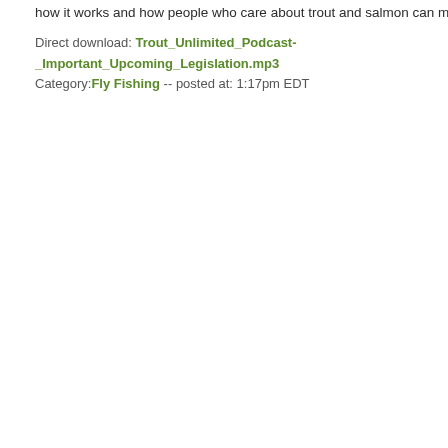how it works and how people who care about trout and salmon can make their voices
Direct download: Trout_Unlimited_Podcast-_Important_Upcoming_Legislation.mp3
Category:Fly Fishing -- posted at: 1:17pm EDT